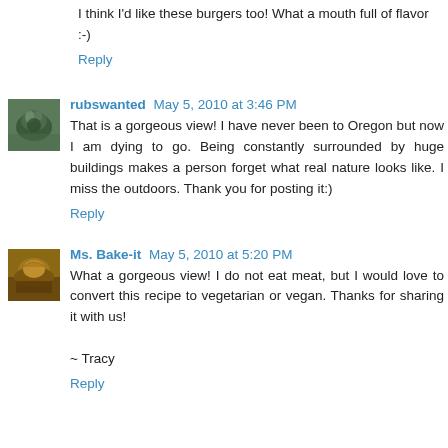I think I'd like these burgers too! What a mouth full of flavor :-)
Reply
rubswanted  May 5, 2010 at 3:46 PM
That is a gorgeous view! I have never been to Oregon but now I am dying to go. Being constantly surrounded by huge buildings makes a person forget what real nature looks like. I miss the outdoors. Thank you for posting it:)
Reply
Ms. Bake-it  May 5, 2010 at 5:20 PM
What a gorgeous view! I do not eat meat, but I would love to convert this recipe to vegetarian or vegan. Thanks for sharing it with us!

~ Tracy
Reply